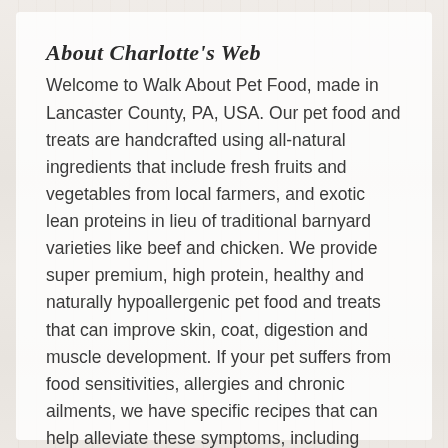About Charlotte's Web
Welcome to Walk About Pet Food, made in Lancaster County, PA, USA. Our pet food and treats are handcrafted using all-natural ingredients that include fresh fruits and vegetables from local farmers, and exotic lean proteins in lieu of traditional barnyard varieties like beef and chicken. We provide super premium, high protein, healthy and naturally hypoallergenic pet food and treats that can improve skin, coat, digestion and muscle development. If your pet suffers from food sensitivities, allergies and chronic ailments, we have specific recipes that can help alleviate these symptoms, including vegan recipes.
Ingredients